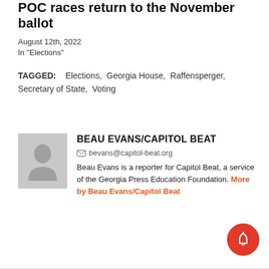POC races return to the November ballot
August 12th, 2022
In "Elections"
TAGGED: Elections, Georgia House, Raffensperger, Secretary of State, Voting
BEAU EVANS/CAPITOL BEAT
bevans@capitol-beat.org
Beau Evans is a reporter for Capitol Beat, a service of the Georgia Press Education Foundation. More by Beau Evans/Capitol Beat